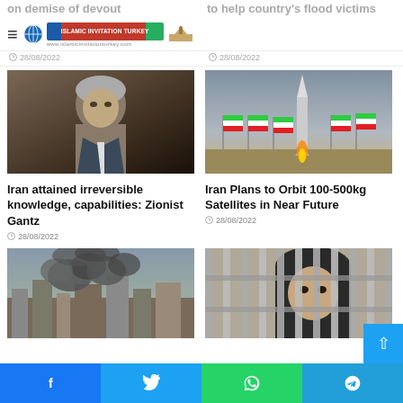on demise of devout
to help country's flood victims
Islamic Invitation Turkey - logo header
28/08/2022
28/08/2022
[Figure (photo): Close-up portrait of an older man, gray hair, serious expression]
Iran attained irreversible knowledge, capabilities: Zionist Gantz
28/08/2022
[Figure (photo): Rocket launch with Iranian flags lined up in the foreground]
Iran Plans to Orbit 100-500kg Satellites in Near Future
28/08/2022
[Figure (photo): City skyline with large smoke clouds rising from buildings]
[Figure (photo): Person looking through metal bars or fence]
Facebook Twitter WhatsApp Telegram social share bar